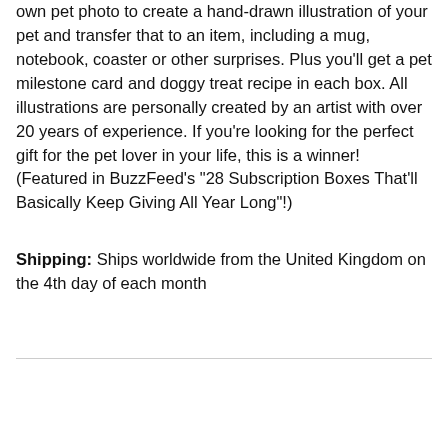own pet photo to create a hand-drawn illustration of your pet and transfer that to an item, including a mug, notebook, coaster or other surprises. Plus you'll get a pet milestone card and doggy treat recipe in each box. All illustrations are personally created by an artist with over 20 years of experience. If you're looking for the perfect gift for the pet lover in your life, this is a winner! (Featured in BuzzFeed's "28 Subscription Boxes That'll Basically Keep Giving All Year Long"!)
Shipping: Ships worldwide from the United Kingdom on the 4th day of each month